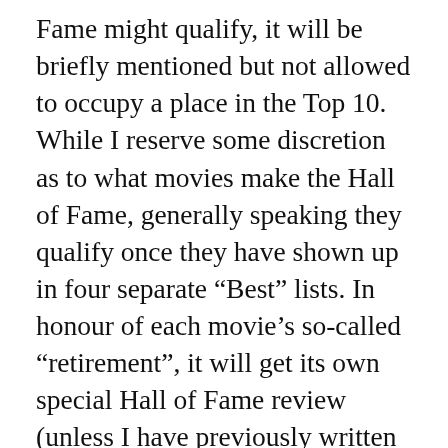Fame might qualify, it will be briefly mentioned but not allowed to occupy a place in the Top 10. While I reserve some discretion as to what movies make the Hall of Fame, generally speaking they qualify once they have shown up in four separate “Best” lists. In honour of each movie’s so-called “retirement”, it will get its own special Hall of Fame review (unless I have previously written a full review on this site before).
(Note: The Hall of Fame numbering is strictly in terms of the date the movie was retired, and is not a ranking. Also the header image is reserved for the most recently retired Hall of Fame)